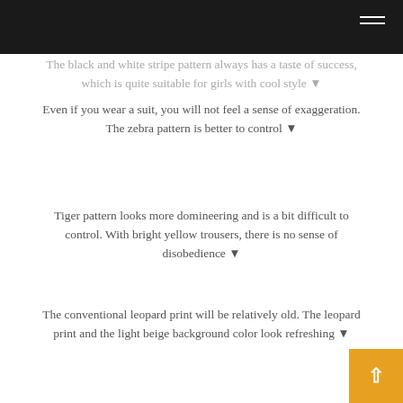The black and white stripe pattern always has a taste of success, which is quite suitable for girls with cool style ▼
Even if you wear a suit, you will not feel a sense of exaggeration. The zebra pattern is better to control ▼
Tiger pattern looks more domineering and is a bit difficult to control. With bright yellow trousers, there is no sense of disobedience ▼
The conventional leopard print will be relatively old. The leopard print and the light beige background color look refreshing ▼